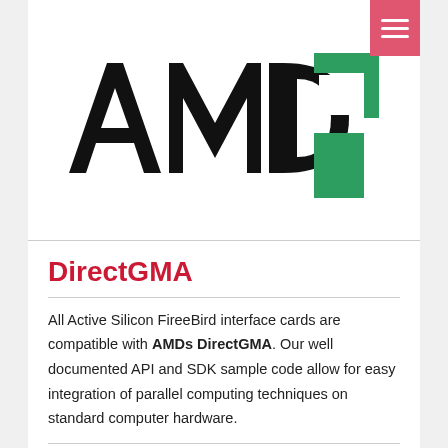[Figure (logo): AMD logo: bold black 'AMD' text with green geometric arrow/chip icon to the right]
DirectGMA
All Active Silicon FireBird interface cards are compatible with AMDs DirectGMA. Our well documented API and SDK sample code allow for easy integration of parallel computing techniques on standard computer hardware.
[Figure (other): View Product button - red rounded rectangle with white text and arrow]